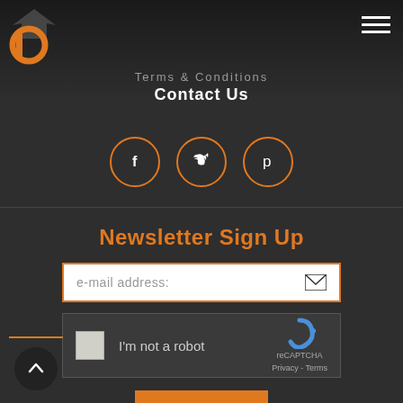[Figure (logo): Orange and black stylized letter P logo with arrow]
[Figure (other): Hamburger menu icon with three white horizontal lines]
Terms & Conditions
Contact Us
[Figure (other): Three social media icon circles (Facebook, Twitter, Pinterest) with orange borders]
Newsletter Sign Up
e-mail address:
[Figure (other): reCAPTCHA widget with checkbox and I'm not a robot text]
Sign Up